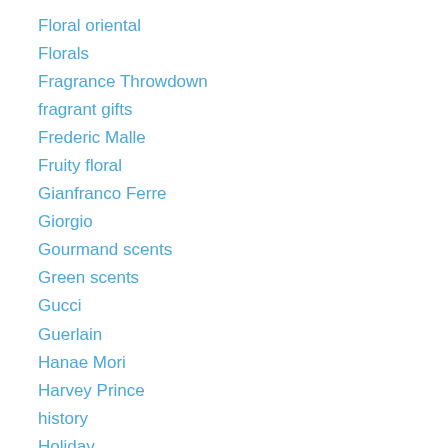Floral oriental
Florals
Fragrance Throwdown
fragrant gifts
Frederic Malle
Fruity floral
Gianfranco Ferre
Giorgio
Gourmand scents
Green scents
Gucci
Guerlain
Hanae Mori
Harvey Prince
history
Holiday
Honore des Pres
i Profumi di Firenze
Il Profumo
Jean Desprez